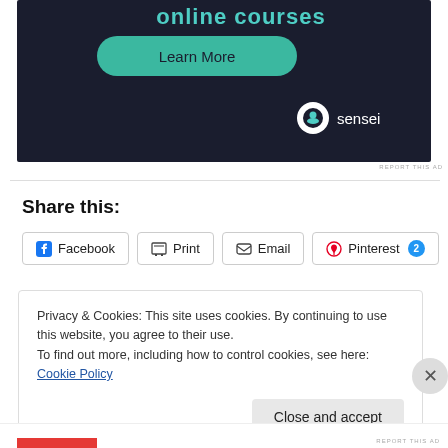[Figure (screenshot): Dark-themed advertisement banner with teal/green 'Learn More' button and Sensei logo at bottom right. Top shows partial teal text (online courses). Background is very dark navy.]
REPORT THIS AD
Share this:
Facebook  Print  Email  Pinterest 2
Privacy & Cookies: This site uses cookies. By continuing to use this website, you agree to their use.
To find out more, including how to control cookies, see here: Cookie Policy
Close and accept
REPORT THIS AD